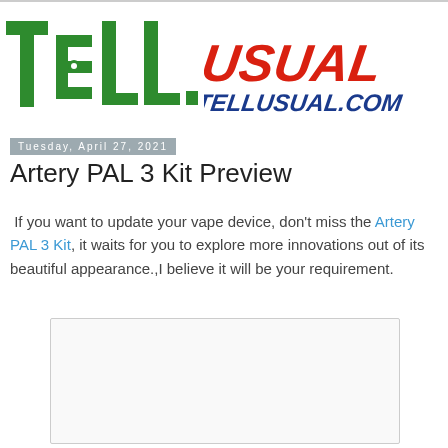[Figure (logo): TellUsual website logo with green block letters TELL and red/blue italic USUAL text with TELLUSUAL.COM below]
Tuesday, April 27, 2021
Artery PAL 3 Kit Preview
If you want to update your vape device, don't miss the Artery PAL 3 Kit, it waits for you to explore more innovations out of its beautiful appearance.,I believe it will be your requirement.
[Figure (photo): White/light gray image placeholder box]